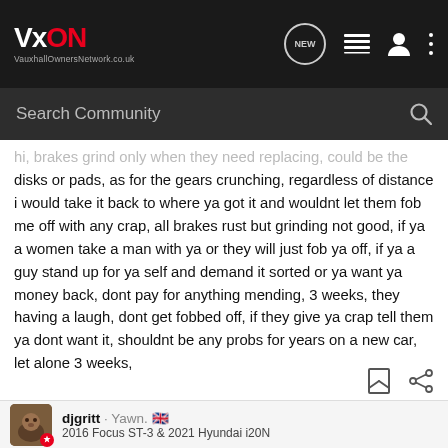VxON VauxhallOwnersNetwork.co.uk
Search Community
hi, brakes grind only when they need replacing, could be the disks or pads, as for the gears crunching, regardless of distance i would take it back to where ya got it and wouldnt let them fob me off with any crap, all brakes rust but grinding not good, if ya a women take a man with ya or they will just fob ya off, if ya a guy stand up for ya self and demand it sorted or ya want ya money back, dont pay for anything mending, 3 weeks, they having a laugh, dont get fobbed off, if they give ya crap tell them ya dont want it, shouldnt be any probs for years on a new car, let alone 3 weeks,
djgritt · Yawn. 🇬🇧
2016 Focus ST-3 & 2021 Hyundai i20N